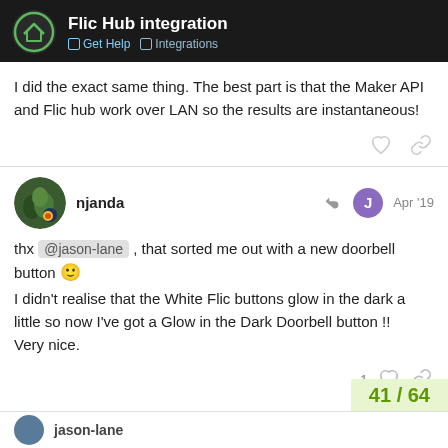Flic Hub integration | Get Help | Integrations
I did the exact same thing. The best part is that the Maker API and Flic hub work over LAN so the results are instantaneous!
njanda  Apr '19
thx @jason-lane , that sorted me out with a new doorbell button 🙂
I didn't realise that the White Flic buttons glow in the dark a little so now I've got a Glow in the Dark Doorbell button !!
Very nice.
41 / 64
jason-lane